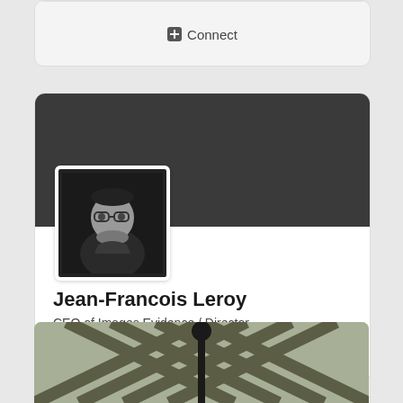[Figure (screenshot): Top of a social/professional profile card showing a Connect button, partially visible at top of page]
[Figure (screenshot): LinkedIn-style profile card for Jean-Francois Leroy with dark banner, black-and-white profile photo, name, title, and organization]
Jean-Francois Leroy
CEO of Images Evidence / Director
The International Festival Of Photojournalism V...
[Figure (photo): Partial view of a building ceiling or architectural structure with diagonal metal beams and a spherical element, visible at bottom of page]